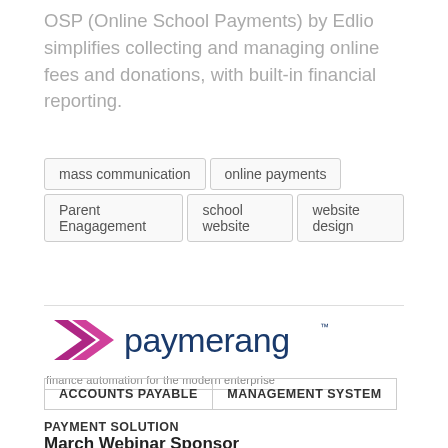OSP (Online School Payments) by Edlio simplifies collecting and managing online fees and donations, with built-in financial reporting.
mass communication
online payments
Parent Enagagement
school website
website design
[Figure (logo): Paymerang logo with chevron/arrow icon in purple/magenta and the word 'paymerang' in dark blue, with tagline 'finance automation for the modern enterprise']
ACCOUNTS PAYABLE | MANAGEMENT SYSTEM
PAYMENT SOLUTION
March Webinar Sponsor
Paymerang
Christina Olszewski, VP Business Development